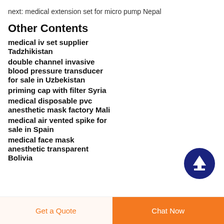next: medical extension set for micro pump Nepal
Other Contents
medical iv set supplier Tadzhikistan
double channel invasive blood pressure transducer for sale in Uzbekistan
priming cap with filter Syria
medical disposable pvc anesthetic mask factory Mali
medical air vented spike for sale in Spain
medical face mask anesthetic transparent Bolivia
[Figure (other): Back to top button — dark blue circle with white upward arrow]
Get a Quote   Chat Now